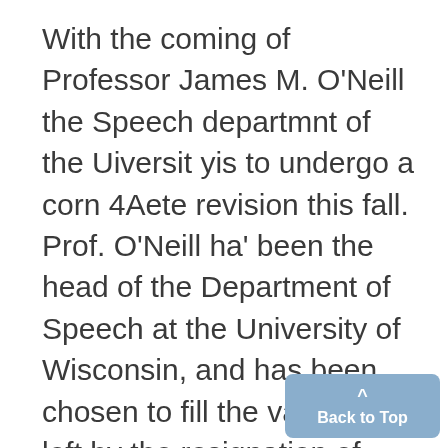With the coming of Professor James M. O'Neill the Speech departmnt of the Uiversit yis to undergo a corn 4Aete revision this fall. Prof. O'Neill ha' been the head of the Department of Speech at the University of Wisconsin, and has been chosen to fill the vacancy left by the resignation of Professor Thomas Trueblood. Several important changes in the "epartment are to be made. First off all, the name is to be changed again. The department, which was first known as locution, then as Oratory